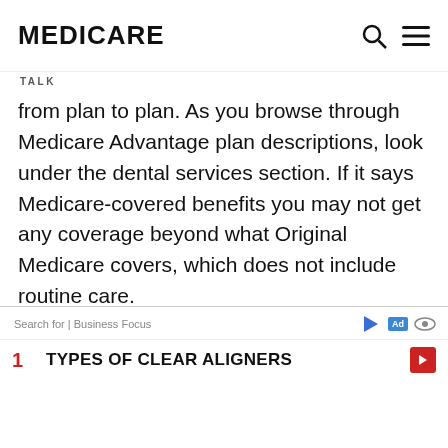MEDICARE
TALK
from plan to plan. As you browse through Medicare Advantage plan descriptions, look under the dental services section. If it says Medicare-covered benefits you may not get any coverage beyond what Original Medicare covers, which does not include routine care.
Search for | Business Focus
1 TYPES OF CLEAR ALIGNERS